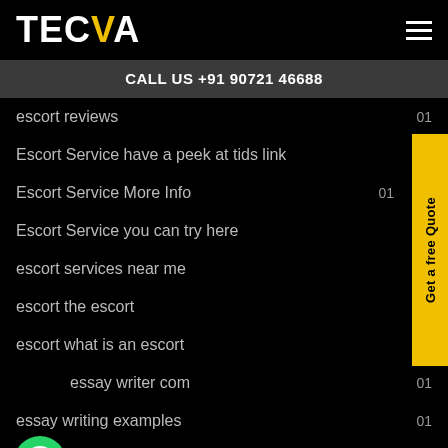TECVA
CALL US +91 90721 46688
escort reviews  01
Escort Service have a peek at tids link  01
Escort Service More Info  01
Escort Service you can try here
escort services near me
escort the escort
escort what is an escort
essay writer com  01
essay writing examples  01
established men review  02